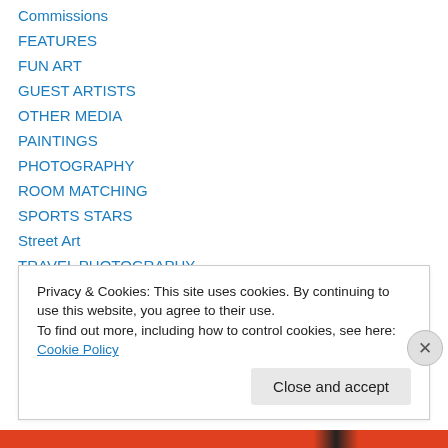Commissions
FEATURES
FUN ART
GUEST ARTISTS
OTHER MEDIA
PAINTINGS
PHOTOGRAPHY
ROOM MATCHING
SPORTS STARS
Street Art
TRAVEL PHOTOGRAPHY
WILDLIFE
WINE ART
Privacy & Cookies: This site uses cookies. By continuing to use this website, you agree to their use.
To find out more, including how to control cookies, see here: Cookie Policy
Close and accept